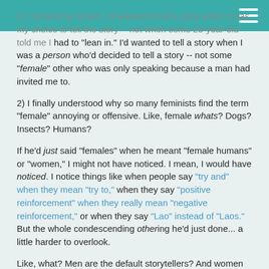1) I closed my mouth. I'd wanted to tell a story when it was my choice to tell the story -- not when some 23-year-old told me I had to "lean in." I'd wanted to tell a story when I was a person who'd decided to tell a story -- not some "female" other who was only speaking because a man had invited me to.
2) I finally understood why so many feminists find the term "female" annoying or offensive. Like, female whats? Dogs? Insects? Humans?
If he'd just said "females" when he meant "female humans" or "women," I might not have noticed. I mean, I would have noticed. I notice things like when people say "try and" when they mean "try to," when they say "positive reinforcement" when they really mean "negative reinforcement," or when they say "Lao" instead of "Laos." But the whole condescending othering he'd just done... a little harder to overlook.
Like, what? Men are the default storytellers? And women can